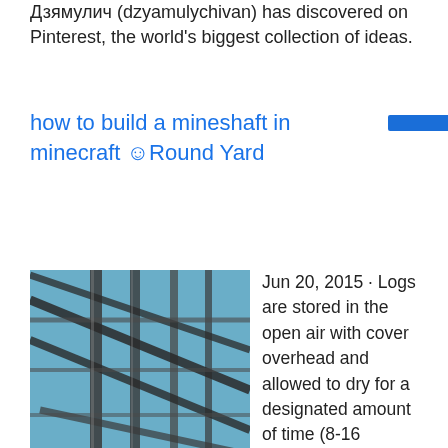Дзямулич (dzyamulychivan) has discovered on Pinterest, the world's biggest collection of ideas.
how to build a mineshaft in minecraft 😉Round Yard
[Figure (photo): Close-up photo of steel structural beams or framework with a grid/lattice pattern against a blue sky background.]
Jun 20, 2015 · Logs are stored in the open air with cover overhead and allowed to dry for a designated amount of time (8-16 months at Original Log Cabin Homes). Air drying is done prior to the milling of the log shape. This allows the wood to slowly, more naturally dry throughout the log evenly and minimal natural cracking (checking) appears.sp.info NovaTechGadgets.comLEGO Creator Apple Tree House (5891) - 539 Piece set LEGO Creator Log Cabin 5766 LEGO Creator Street Rebel 7291 LEGO DUPLO Bricks & More Deluxe Brick Box 5507 LEGO DUPLO Community